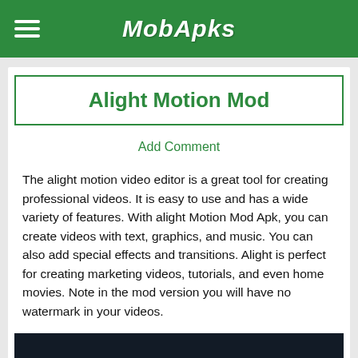MobApks
Alight Motion Mod
Add Comment
The alight motion video editor is a great tool for creating professional videos. It is easy to use and has a wide variety of features. With alight Motion Mod Apk, you can create videos with text, graphics, and music. You can also add special effects and transitions. Alight is perfect for creating marketing videos, tutorials, and even home movies. Note in the mod version you will have no watermark in your videos.
[Figure (screenshot): Dark image strip at bottom of page, appears to be a video thumbnail or app screenshot with dark navy/black background]